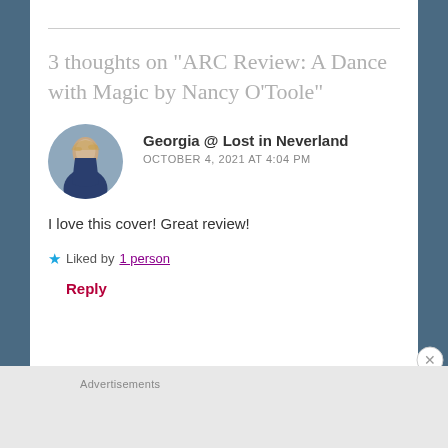3 thoughts on “ARC Review: A Dance with Magic by Nancy O’Toole”
[Figure (photo): Circular avatar photo of Georgia, a woman in a dark outfit standing outdoors]
Georgia @ Lost in Neverland
OCTOBER 4, 2021 AT 4:04 PM
I love this cover! Great review!
★ Liked by 1 person
Reply
Advertisements